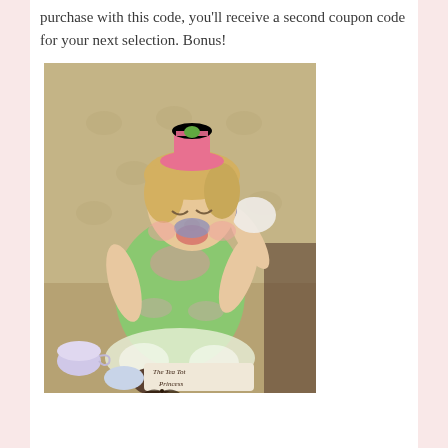purchase with this code, you'll receive a second coupon code for your next selection. Bonus!
[Figure (photo): A toddler girl wearing a small pink top hat and a green dress with pink accents, drinking from a teacup with a lace doily, sitting in a tufted beige chair. A sign near the bottom reads 'The Tea Tot Princess' with decorative butterfly swirls.]